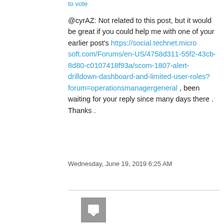to vote
@cyrAZ: Not related to this post, but it would be great if you could help me with one of your earlier post's https://social.technet.microsoft.com/Forums/en-US/4758d311-55f2-43cb-8d80-c0107418f93a/scom-1807-alert-drilldown-dashboard-and-limited-user-roles?forum=operationsmanagergeneral , been waiting for your reply since many days there . Thanks .
Wednesday, June 19, 2019 6:25 AM
[Figure (other): User avatar icon - grey square with white chat bubble/person icon]